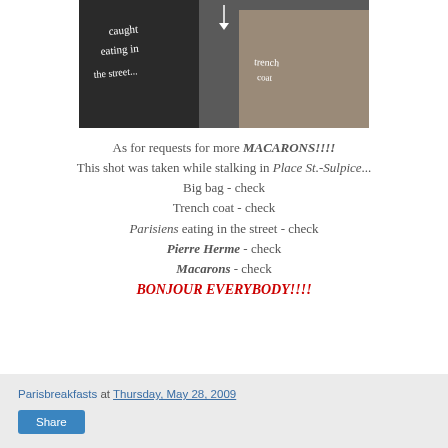[Figure (photo): Black and white street photo with handwritten annotations reading 'caught eating in the street...' and 'trench coat', showing people on a street in Paris.]
As for requests for more MACARONS!!!!
This shot was taken while stalking in Place St.-Sulpice...
Big bag - check
Trench coat - check
Parisiens eating in the street - check
Pierre Herme - check
Macarons - check
BONJOUR EVERYBODY!!!!
Parisbreakfasts at Thursday, May 28, 2009
Share